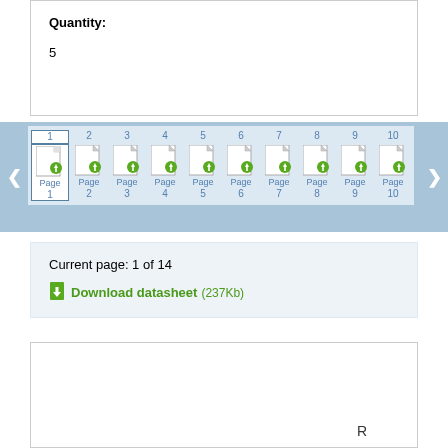Quantity:
5
[Figure (screenshot): Horizontal page thumbnail slider showing 10 page thumbnails numbered 1-10. Page 1 is highlighted/selected with a blue border. Navigation arrows on left and right. Pages labeled Page1 through Page10 with top numbers 1-10 and bottom numbers 1-10.]
Current page: 1 of 14
Download datasheet (237Kb)
R